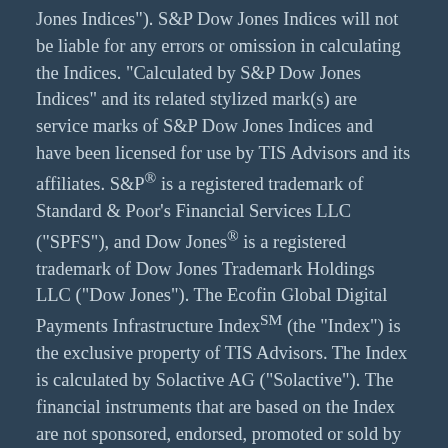Jones Indices"). S&P Dow Jones Indices will not be liable for any errors or omission in calculating the Indices. "Calculated by S&P Dow Jones Indices" and its related stylized mark(s) are service marks of S&P Dow Jones Indices and have been licensed for use by TIS Advisors and its affiliates. S&P® is a registered trademark of Standard & Poor's Financial Services LLC ("SPFS"), and Dow Jones® is a registered trademark of Dow Jones Trademark Holdings LLC ("Dow Jones"). The Ecofin Global Digital Payments Infrastructure IndexSM (the "Index") is the exclusive property of TIS Advisors. The Index is calculated by Solactive AG ("Solactive"). The financial instruments that are based on the Index are not sponsored, endorsed, promoted or sold by Solactive in any way, and Solactive makes no express or implied representation, guarantee or assurance with regard to: (a) the advisability in investing in the financial instruments; (b) the quality, accuracy and/or completeness of the Indices or the calculations thereof; and/or (c) the results obtained or to be obtained by any person or entity from the use of the Index. No portion of